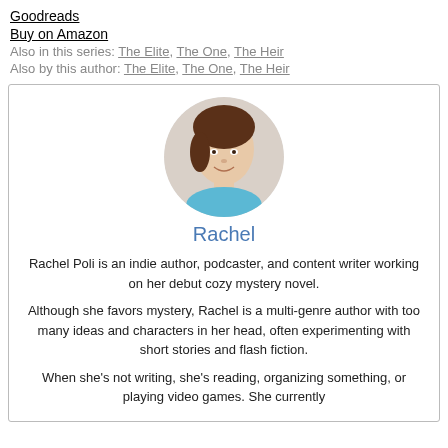Goodreads
Buy on Amazon
Also in this series: The Elite, The One, The Heir
Also by this author: The Elite, The One, The Heir
[Figure (photo): Circular portrait photo of Rachel]
Rachel
Rachel Poli is an indie author, podcaster, and content writer working on her debut cozy mystery novel.

Although she favors mystery, Rachel is a multi-genre author with too many ideas and characters in her head, often experimenting with short stories and flash fiction.

When she's not writing, she's reading, organizing something, or playing video games. She currently